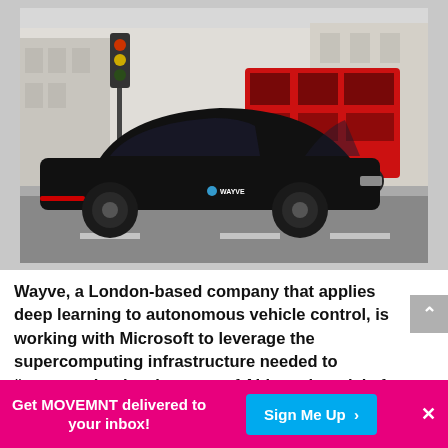[Figure (photo): A black Wayve autonomous vehicle (Jaguar I-PACE SUV) driving on a London street with a red double-decker bus in the background and urban buildings. The car has a Wayve logo on its side door.]
Wayve, a London-based company that applies deep learning to autonomous vehicle control, is working with Microsoft to leverage the supercomputing infrastructure needed to "support the development of AI-based models for autonomous vehicle control models."
Get MOVEMNT delivered to your inbox!
Sign Me Up ›